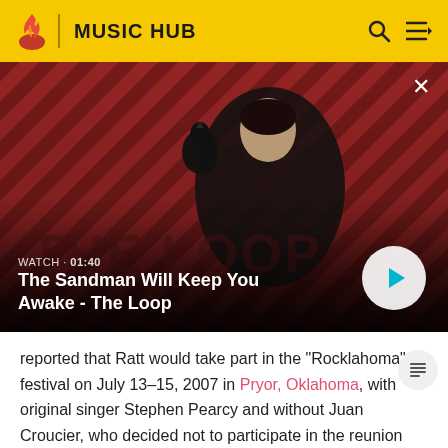MUSIC HUB
[Figure (screenshot): Video thumbnail showing a dark-clad figure with a raven on shoulder against a red and black diagonal striped background. Title: The Sandman Will Keep You Awake - The Loop. Duration: 01:40. Play button visible.]
reported that Ratt would take part in the "Rocklahoma" festival on July 13–15, 2007 in Pryor, Oklahoma, with original singer Stephen Pearcy and without Juan Croucier, who decided not to participate in the reunion tour. Robbie Crane continued to play bass instead. [12]